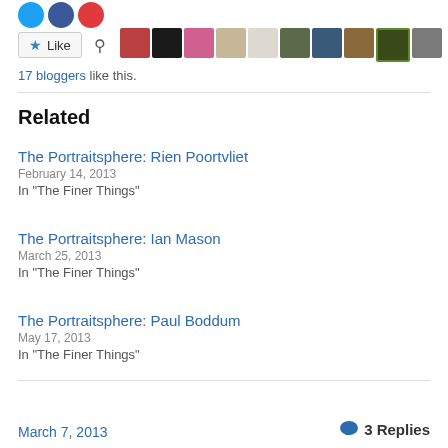[Figure (other): Social share icons: Twitter (blue circle), Facebook (navy circle), Pinterest (red circle)]
[Figure (other): Like button with star icon, search icon, and a row of 10 blogger avatar thumbnail images]
17 bloggers like this.
Related
The Portraitsphere: Rien Poortvliet
February 14, 2013
In "The Finer Things"
The Portraitsphere: Ian Mason
March 25, 2013
In "The Finer Things"
The Portraitsphere: Paul Boddum
May 17, 2013
In "The Finer Things"
March 7, 2013
3 Replies